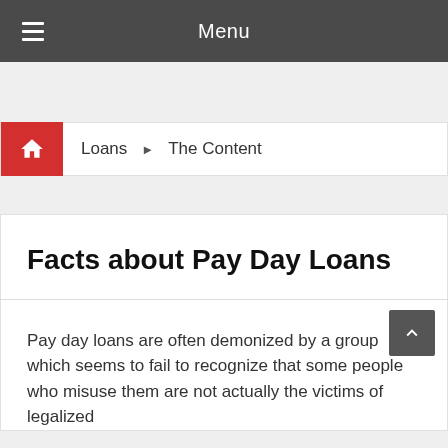Menu
Loans ▶ The Content
Facts about Pay Day Loans
Pay day loans are often demonized by a group which seems to fail to recognize that some people who misuse them are not actually the victims of legalized